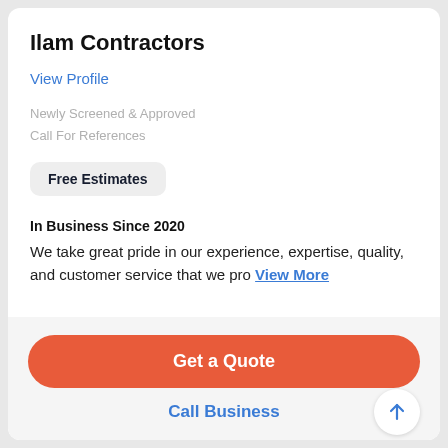Ilam Contractors
View Profile
Newly Screened & Approved
Call For References
Free Estimates
In Business Since 2020
We take great pride in our experience, expertise, quality, and customer service that we pro View More
Get a Quote
Call Business